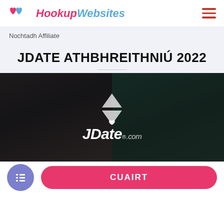HookupWebsites — navigation header with hamburger menu
Nochtadh Affiliate
JDATE ATHBHREITHNIÚ 2022
[Figure (photo): Couple holding hands outdoors (man in black leather pants, woman in teal dress), with JDate.com logo watermark overlaid in center]
CUAIRT